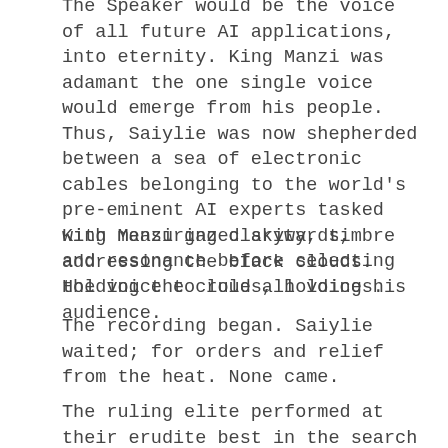The Speaker would be the voice of all future AI applications, into eternity. King Manzi was adamant the one single voice would emerge from his people. Thus, Saiylie was now shepherded between a sea of electronic cables belonging to the world's pre-eminent AI experts tasked with measuring clarity, timbre and resonance before selecting the voice to rule all voices.
King Manzi gazed skywards, addressing the black clouds. Holding the clouds, holding his audience.
The recording began. Saiylie waited; for orders and relief from the heat. None came.
The ruling elite performed at their erudite best in the search for perfection and the hope of becoming